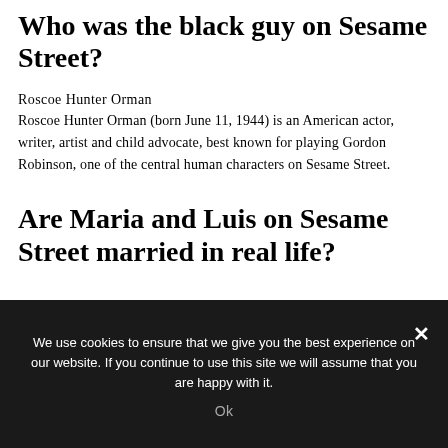Who was the black guy on Sesame Street?
Roscoe Hunter Orman
Roscoe Hunter Orman (born June 11, 1944) is an American actor, writer, artist and child advocate, best known for playing Gordon Robinson, one of the central human characters on Sesame Street.
Are Maria and Luis on Sesame Street married in real life?
We use cookies to ensure that we give you the best experience on our website. If you continue to use this site we will assume that you are happy with it.
Ok